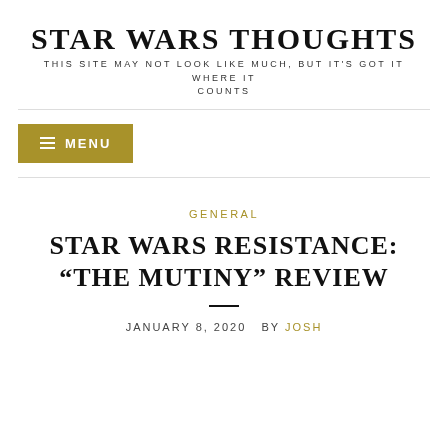STAR WARS THOUGHTS
THIS SITE MAY NOT LOOK LIKE MUCH, BUT IT'S GOT IT WHERE IT COUNTS
MENU
GENERAL
STAR WARS RESISTANCE: “THE MUTINY” REVIEW
JANUARY 8, 2020  BY JOSH